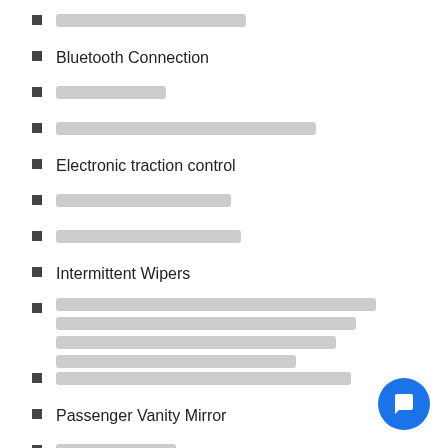[redacted]
Bluetooth Connection
[redacted]
[redacted]
Electronic traction control
[redacted]
[redacted]
Intermittent Wipers
[redacted multi-line]
[redacted]
Passenger Vanity Mirror
[redacted]
[redacted]